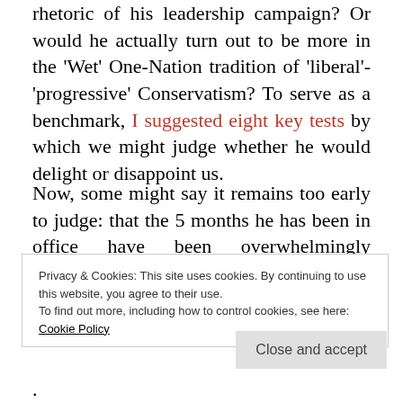rhetoric of his leadership campaign? Or would he actually turn out to be more in the 'Wet' One-Nation tradition of 'liberal'-'progressive' Conservatism? To serve as a benchmark, I suggested eight key tests by which we might judge whether he would delight or disappoint us.
Now, some might say it remains too early to judge: that the 5 months he has been in office have been overwhelmingly occupied by Brexit to the exclusion of virtually everything else, and that only after a
Privacy & Cookies: This site uses cookies. By continuing to use this website, you agree to their use.
To find out more, including how to control cookies, see here: Cookie Policy
Close and accept
.